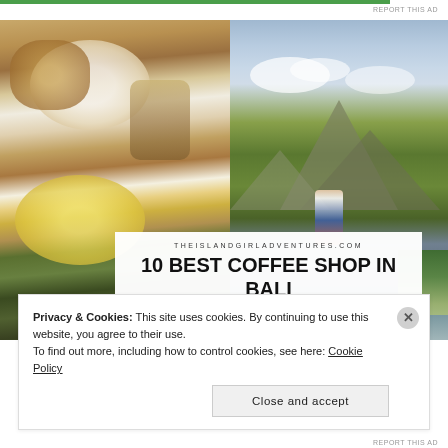REPORT THIS AD
[Figure (photo): Split photo: left side shows coffee shop breakfast items — a bowl with whipped cream/yogurt, scrambled eggs, coffee jar on wooden board; right side shows a woman standing at a scenic overlook with Mt. Batur volcano and green valley in Bali, Indonesia]
THEISLANDGIRLADVENTURES.COM
10 BEST COFFEE SHOP IN BALI
Privacy & Cookies: This site uses cookies. By continuing to use this website, you agree to their use.
To find out more, including how to control cookies, see here: Cookie Policy
Close and accept
REPORT THIS AD